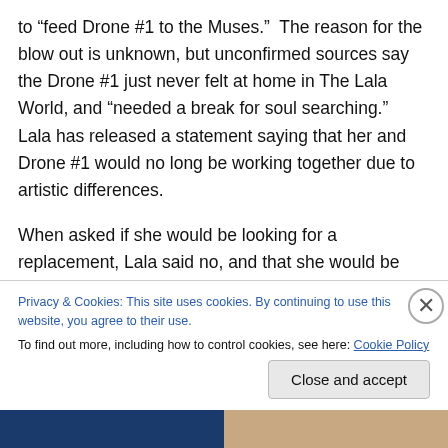to “feed Drone #1 to the Muses.”  The reason for the blow out is unknown, but unconfirmed sources say the Drone #1 just never felt at home in The Lala World, and “needed a break for soul searching.”  Lala has released a statement saying that her and Drone #1 would no long be working together due to artistic differences.
When asked if she would be looking for a replacement, Lala said no, and that she would be retiring the number 1. However, she is not saving the title in hopes that Drone #1 will return.  For the most part, The Lala World has an open
Privacy & Cookies: This site uses cookies. By continuing to use this website, you agree to their use.
To find out more, including how to control cookies, see here: Cookie Policy
Close and accept